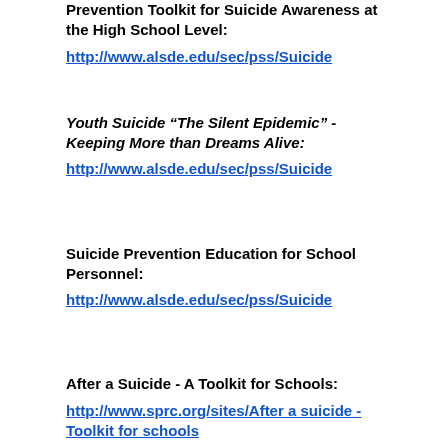Prevention Toolkit for Suicide Awareness at the High School Level:
http://www.alsde.edu/sec/pss/Suicide
Youth Suicide “The Silent Epidemic” -Keeping More than Dreams Alive:
http://www.alsde.edu/sec/pss/Suicide
Suicide Prevention Education for School Personnel:
http://www.alsde.edu/sec/pss/Suicide
After a Suicide - A Toolkit for Schools:
http://www.sprc.org/sites/After a suicide -Toolkit for schools
Youth Suicide Warning Signs
http://www.alsde.eduwarning signs